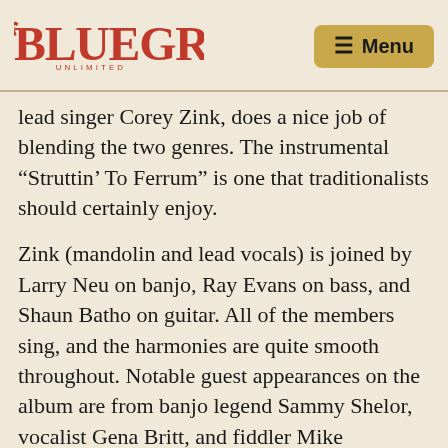Bluegrass Unlimited — Menu
lead singer Corey Zink, does a nice job of blending the two genres. The instrumental “Struttin’ To Ferrum” is one that traditionalists should certainly enjoy.
Zink (mandolin and lead vocals) is joined by Larry Neu on banjo, Ray Evans on bass, and Shaun Batho on guitar. All of the members sing, and the harmonies are quite smooth throughout. Notable guest appearances on the album are from banjo legend Sammy Shelor, vocalist Gena Britt, and fiddler Mike Hartgrove. It would be accurate to bill this group as country singing with bluegrass instrumentation. (Acoustic Blue, 227 Barker Rd., Pittsfield, MA 01201,